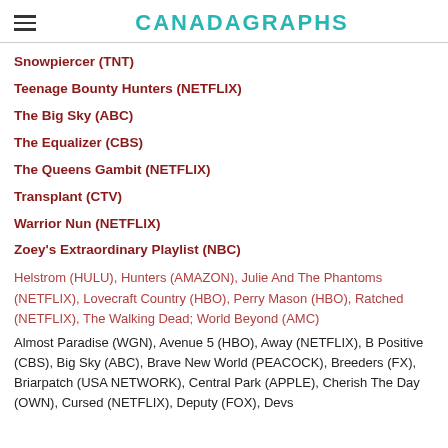CANADAGRAPHS
Snowpiercer (TNT)
Teenage Bounty Hunters (NETFLIX)
The Big Sky (ABC)
The Equalizer (CBS)
The Queens Gambit (NETFLIX)
Transplant (CTV)
Warrior Nun (NETFLIX)
Zoey's Extraordinary Playlist (NBC)
Helstrom (HULU), Hunters (AMAZON), Julie And The Phantoms (NETFLIX), Lovecraft Country (HBO), Perry Mason (HBO), Ratched (NETFLIX), The Walking Dead; World Beyond (AMC)
Almost Paradise (WGN), Avenue 5 (HBO), Away (NETFLIX), B Positive (CBS), Big Sky (ABC), Brave New World (PEACOCK), Breeders (FX), Briarpatch (USA NETWORK), Central Park (APPLE), Cherish The Day (OWN), Cursed (NETFLIX), Deputy (FOX), Devs...